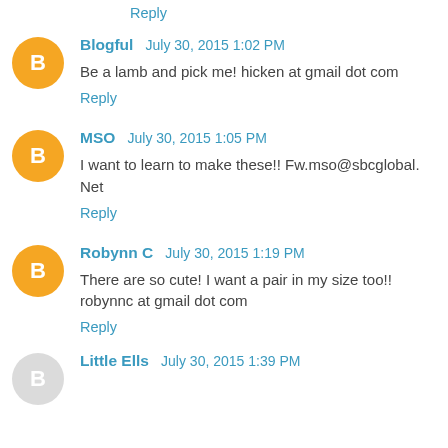Reply
Blogful  July 30, 2015 1:02 PM
Be a lamb and pick me! hicken at gmail dot com
Reply
MSO  July 30, 2015 1:05 PM
I want to learn to make these!! Fw.mso@sbcglobal. Net
Reply
Robynn C  July 30, 2015 1:19 PM
There are so cute! I want a pair in my size too!! robynnc at gmail dot com
Reply
Little Ells  July 30, 2015 1:39 PM